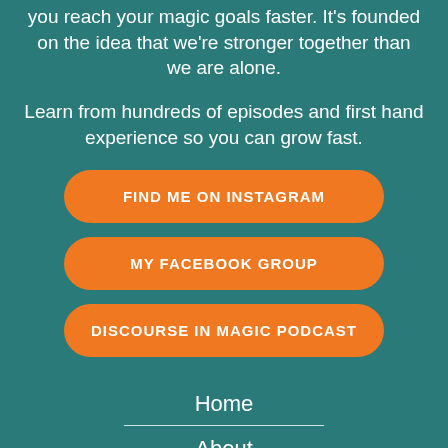you reach your magic goals faster. It's founded on the idea that we're stronger together than we are alone.
Learn from hundreds of episodes and first hand experience so you can grow fast.
FIND ME ON INSTAGRAM
MY FACEBOOK GROUP
DISCOURSE IN MAGIC PODCAST
Home
About